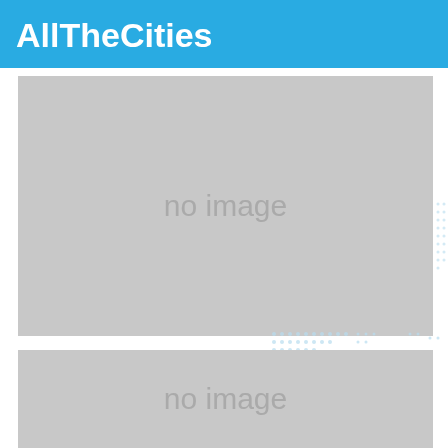AllTheCities
[Figure (other): Placeholder image box showing 'no image' text on gray background]
[Figure (other): Second placeholder image box showing 'no image' text on gray background]